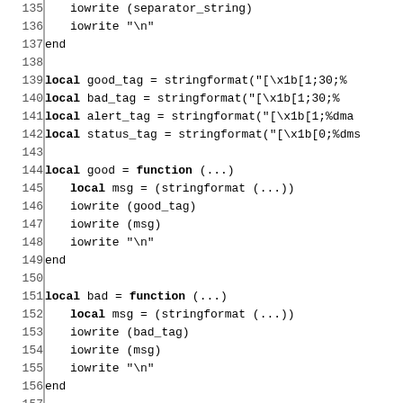Code listing lines 135-164, showing Lua code with functions good, bad, attention and local variable assignments for good_tag, bad_tag, alert_tag, status_tag using stringformat.